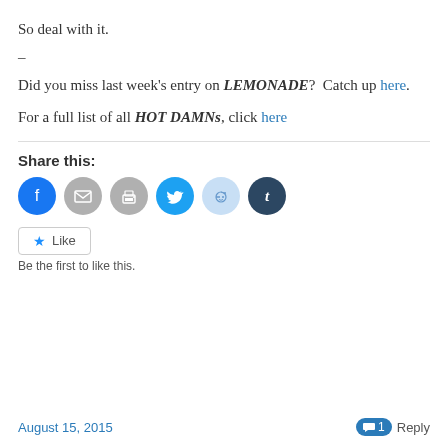So deal with it.
–
Did you miss last week’s entry on LEMONADE?  Catch up here.
For a full list of all HOT DAMNs, click here
Share this:
[Figure (infographic): Row of social sharing icon circles: Facebook (blue), Email (gray), Print (gray), Twitter (cyan), Reddit (light blue), Tumblr (dark navy)]
Like
Be the first to like this.
August 15, 2015 | 1 Reply